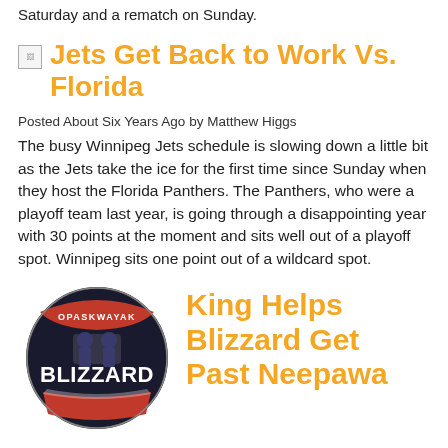Saturday and a rematch on Sunday.
[Figure (logo): Small broken image placeholder icon]
Jets Get Back to Work Vs. Florida
Posted About Six Years Ago by Matthew Higgs
The busy Winnipeg Jets schedule is slowing down a little bit as the Jets take the ice for the first time since Sunday when they host the Florida Panthers. The Panthers, who were a playoff team last year, is going through a disappointing year with 30 points at the moment and sits well out of a playoff spot. Winnipeg sits one point out of a wildcard spot.
[Figure (logo): Opaskwayak Blizzard hockey team logo — circular badge with OPASKWAYAK text at top, BLIZZARD in bold in the center, on a dark background with red and white accents]
King Helps Blizzard Get Past Neepawa